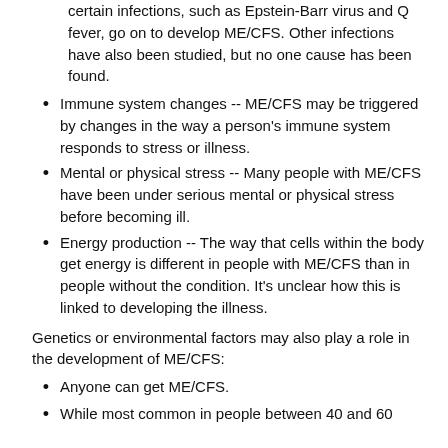certain infections, such as Epstein-Barr virus and Q fever, go on to develop ME/CFS. Other infections have also been studied, but no one cause has been found.
Immune system changes -- ME/CFS may be triggered by changes in the way a person's immune system responds to stress or illness.
Mental or physical stress -- Many people with ME/CFS have been under serious mental or physical stress before becoming ill.
Energy production -- The way that cells within the body get energy is different in people with ME/CFS than in people without the condition. It's unclear how this is linked to developing the illness.
Genetics or environmental factors may also play a role in the development of ME/CFS:
Anyone can get ME/CFS.
While most common in people between 40 and 60